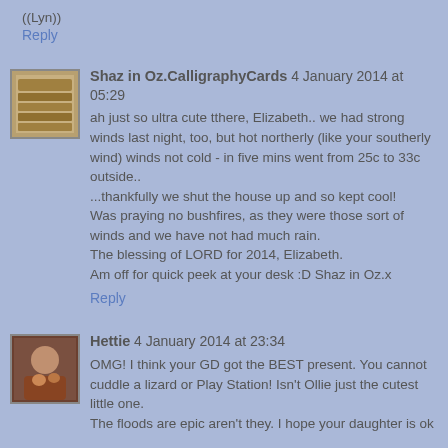((Lyn))
Reply
Shaz in Oz.CalligraphyCards 4 January 2014 at 05:29
ah just so ultra cute tthere, Elizabeth.. we had strong winds last night, too, but hot northerly (like your southerly wind) winds not cold - in five mins went from 25c to 33c outside.. ...thankfully we shut the house up and so kept cool! Was praying no bushfires, as they were those sort of winds and we have not had much rain. The blessing of LORD for 2014, Elizabeth. Am off for quick peek at your desk :D Shaz in Oz.x
Reply
Hettie 4 January 2014 at 23:34
OMG! I think your GD got the BEST present. You cannot cuddle a lizard or Play Station! Isn't Ollie just the cutest little one. The floods are epic aren't they. I hope your daughter is ok